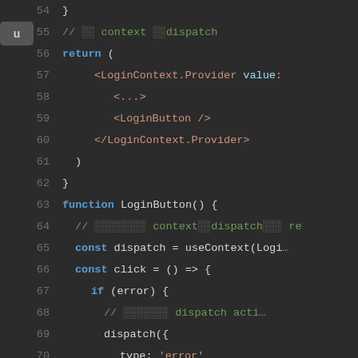[Figure (screenshot): Code editor screenshot showing JavaScript/JSX code lines 54-76 with syntax highlighting on dark background. Code includes a LoginContext.Provider component return statement, a LoginButton function using useContext and dispatch with error handling logic.]